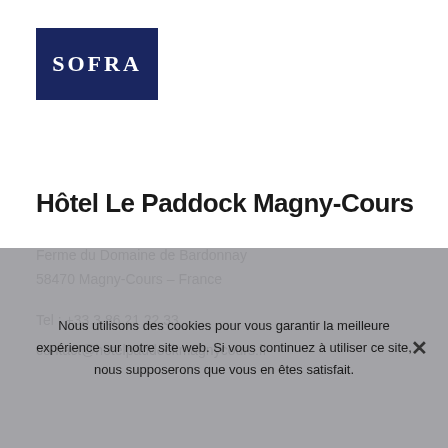[Figure (logo): SOFRA logo — white text on dark navy blue background]
Hôtel Le Paddock Magny-Cours
Ferme du Domaine de Bardonnay
58470 Magny-Cours – France
Tel : +33 3 86 21 22 33
contact@hotelpaddockmagnycours.fr
Nous utilisons des cookies pour vous garantir la meilleure expérience sur notre site web. Si vous continuez à utiliser ce site, nous supposerons que vous en êtes satisfait.